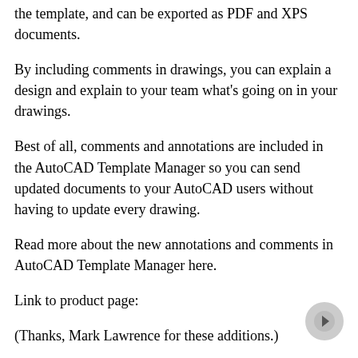the template, and can be exported as PDF and XPS documents.
By including comments in drawings, you can explain a design and explain to your team what’s going on in your drawings.
Best of all, comments and annotations are included in the AutoCAD Template Manager so you can send updated documents to your AutoCAD users without having to update every drawing.
Read more about the new annotations and comments in AutoCAD Template Manager here.
Link to product page:
(Thanks, Mark Lawrence for these additions.)
At Autodesk University, we have introduced a new presentation mode for multimedia presentations. The most striking difference is that the pointer is no